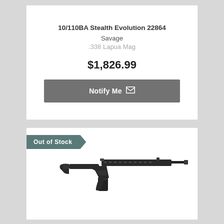10/110BA Stealth Evolution 22864
Savage
.338 Lapua Mag
$1,826.99
Notify Me
Out of Stock
[Figure (photo): Black semi-automatic rifle with long barrel, M-LOK handguard, collapsible stock, and pistol grip, shown in profile view]